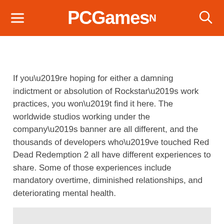PCGamesN
If you’re hoping for either a damning indictment or absolution of Rockstar’s work practices, you won’t find it here. The worldwide studios working under the company’s banner are all different, and the thousands of developers who’ve touched Red Dead Redemption 2 all have different experiences to share. Some of those experiences include mandatory overtime, diminished relationships, and deteriorating mental health.
[Figure (other): Gray placeholder box at bottom of page]